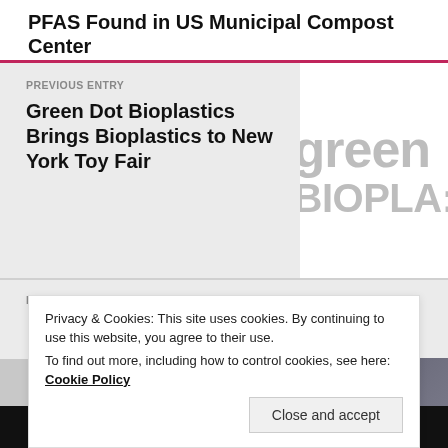PFAS Found in US Municipal Compost Center
PREVIOUS ENTRY
Green Dot Bioplastics Brings Bioplastics to New York Toy Fair
[Figure (logo): Green Dot Bioplastics logo showing 'green' and 'BIOPLA' text in gray]
NEXT ENTRY
Privacy & Cookies: This site uses cookies. By continuing to use this website, you agree to their use.
To find out more, including how to control cookies, see here: Cookie Policy
BIOPLASTICS NEWS